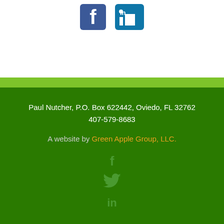[Figure (illustration): Facebook and LinkedIn social media icons (blue) in white section at top]
Paul Nutcher, P.O. Box 622442, Oviedo, FL 32762
407-579-8683
A website by Green Apple Group, LLC.
[Figure (illustration): Facebook, Twitter, and LinkedIn small social media icons in muted green on dark green background]